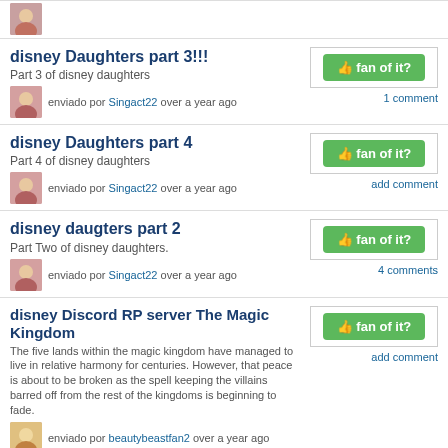[Figure (photo): Small avatar thumbnail at very top]
disney Daughters part 3!!!
Part 3 of disney daughters
enviado por Singact22 over a year ago
1 comment
disney Daughters part 4
Part 4 of disney daughters
enviado por Singact22 over a year ago
add comment
disney daugters part 2
Part Two of disney daughters.
enviado por Singact22 over a year ago
4 comments
disney Discord RP server The Magic Kingdom
The five lands within the magic kingdom have managed to live in relative harmony for centuries. However, that peace is about to be broken as the spell keeping the villains barred off from the rest of the kingdoms is beginning to fade.
enviado por beautybeastfan2 over a year ago
add comment
« anterior  1 2 3 4 5 6 7 8 9 10 11 12 13 14 15 16 17 18  seguinte »